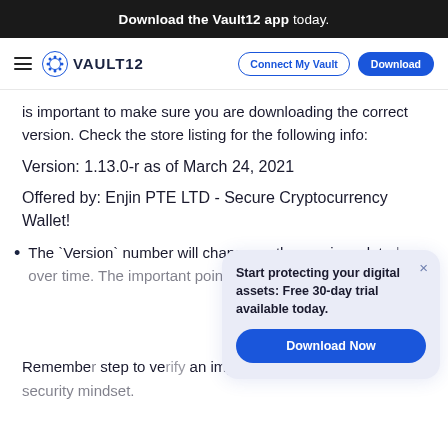Download the Vault12 app today.
[Figure (logo): Vault12 navigation bar with hamburger menu, Vault12 logo, Connect My Vault button, and Download button]
is important to make sure you are downloading the correct version. Check the store listing for the following info:
Version: 1.13.0-r as of March 24, 2021
Offered by: Enjin PTE LTD - Secure Cryptocurrency Wallet!
The `Version` number will change as the app is updated over time. The important point to verify the
Remember step to ve an important concept in having a security mindset.
[Figure (infographic): Popup overlay with text: Start protecting your digital assets: Free 30-day trial available today. And a Download Now button with a close X button.]